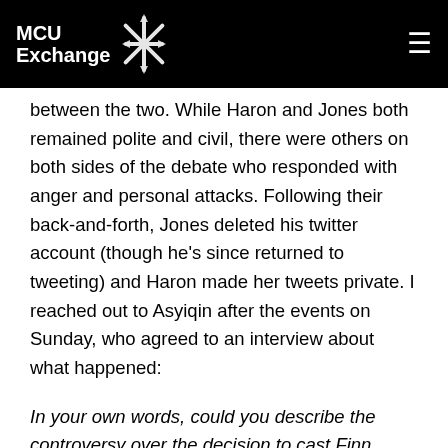MCU Exchange [logo]
between the two. While Haron and Jones both remained polite and civil, there were others on both sides of the debate who responded with anger and personal attacks. Following their back-and-forth, Jones deleted his twitter account (though he's since returned to tweeting) and Haron made her tweets private. I reached out to Asyiqin after the events on Sunday, who agreed to an interview about what happened:
In your own words, could you describe the controversy over the decision to cast Finn Jones as Danny Rand?